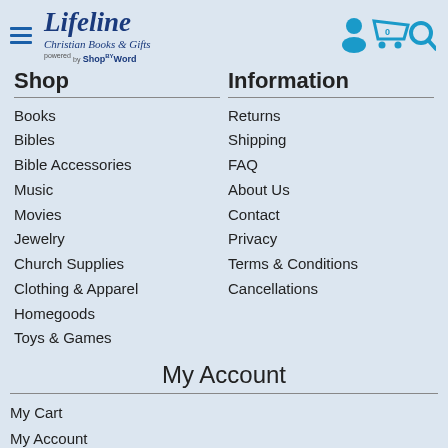Lifeline Christian Books & Gifts — powered by ShopByWord
Shop
Information
Books
Bibles
Bible Accessories
Music
Movies
Jewelry
Church Supplies
Clothing & Apparel
Homegoods
Toys & Games
Returns
Shipping
FAQ
About Us
Contact
Privacy
Terms & Conditions
Cancellations
My Account
My Cart
My Account